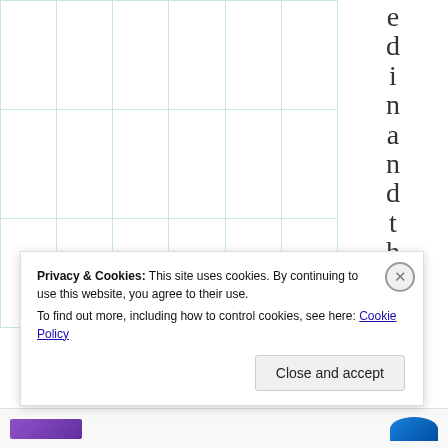|  |  |  |  |  |  |
|  |  |  |  |  |  |
|  |  |  |  |  |  |
e d i n a n d t h e s
Privacy & Cookies: This site uses cookies. By continuing to use this website, you agree to their use.
To find out more, including how to control cookies, see here: Cookie Policy
Close and accept